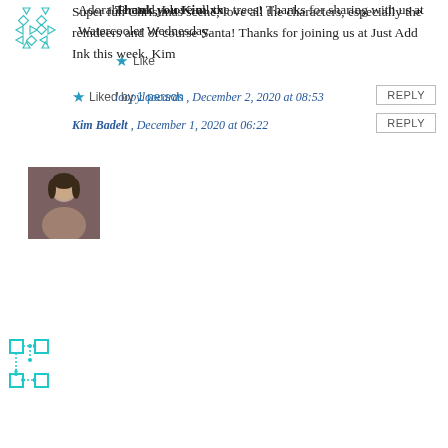[Figure (illustration): Teal geometric pattern avatar with triangles and diamonds]
Super fun Christmas scene, love all the characters, especially the reindeers and of course Santa! Thanks for joining us at Just Add Ink this week. Kim
Liked by 1 person
Kim Badelt , December 1, 2020 at 06:22
REPLY
[Figure (photo): Small portrait photo of a woman with dark hair]
Thank you Kim xx
Like
loopyloocards , December 2, 2020 at 08:53
REPLY
[Figure (illustration): Teal/cyan network/circuit diagram icon with squares and connecting lines]
Adorable card, I love all the trees! Thanks for sharing with us at Watercooler Wednesday.